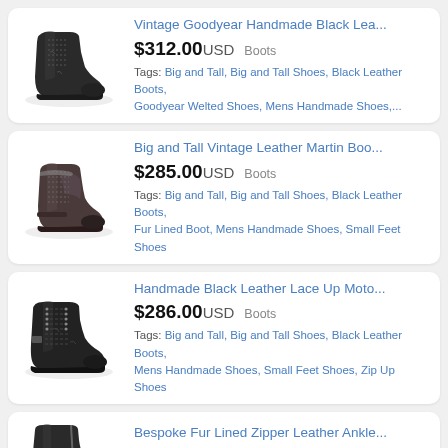[Figure (photo): Dark vintage black leather lace-up combat boot, distressed look]
Vintage Goodyear Handmade Black Lea...
$312.00USD   Boots
Tags: Big and Tall, Big and Tall Shoes, Black Leather Boots, Goodyear Welted Shoes, Mens Handmade Shoes,...
[Figure (photo): Dark vintage brown/grey leather Martin boot, distressed finish]
Big and Tall Vintage Leather Martin Boo...
$285.00USD   Boots
Tags: Big and Tall, Big and Tall Shoes, Black Leather Boots, Fur Lined Boot, Mens Handmade Shoes, Small Feet Shoes
[Figure (photo): Dark distressed black leather lace-up moto boots with metal hardware]
Handmade Black Leather Lace Up Moto...
$286.00USD   Boots
Tags: Big and Tall, Big and Tall Shoes, Black Leather Boots, Mens Handmade Shoes, Small Feet Shoes, Zip Up Shoes
[Figure (photo): Dark leather ankle boot with zipper and studs, partially visible]
Bespoke Fur Lined Zipper Leather Ankle...